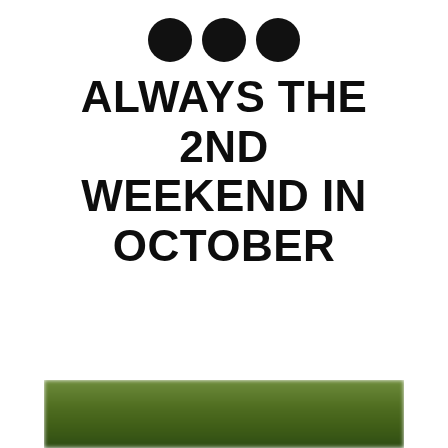[Figure (other): Three black circles partially visible at the top of the page]
ALWAYS THE 2ND WEEKEND IN OCTOBER
[Figure (photo): Blurred green outdoor/nature photo at the bottom of the page]